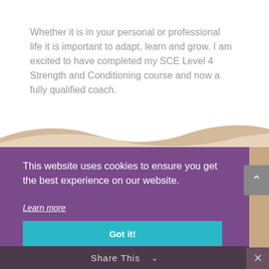Whether it is in your personal or professional life it is important to adapt, learn and grow. I am excited to have completed my SCE Level 4 Strength and Conditioning course and now a fully qualified coach.
[Figure (illustration): Decorative wave shape in beige/tan tones separating the white content area from the purple cookie consent banner below]
This website uses cookies to ensure you get the best experience on our website.
Learn more
Got it!
Share This